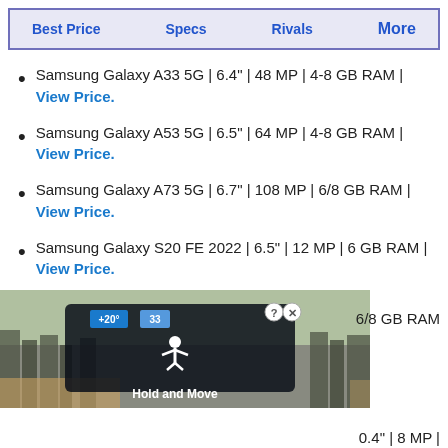Best Price | Specs | Rivals | More
Samsung Galaxy A33 5G | 6.4" | 48 MP | 4-8 GB RAM | View Price.
Samsung Galaxy A53 5G | 6.5" | 64 MP | 4-8 GB RAM | View Price.
Samsung Galaxy A73 5G | 6.7" | 108 MP | 6/8 GB RAM | View Price.
Samsung Galaxy S20 FE 2022 | 6.5" | 12 MP | 6 GB RAM | View Price.
[Figure (photo): Advertisement image showing a weather/navigation display with 'Hold and Move' label, overlaid on a winter landscape photo with trees]
6/8 GB RAM
0.4" | 8 MP |